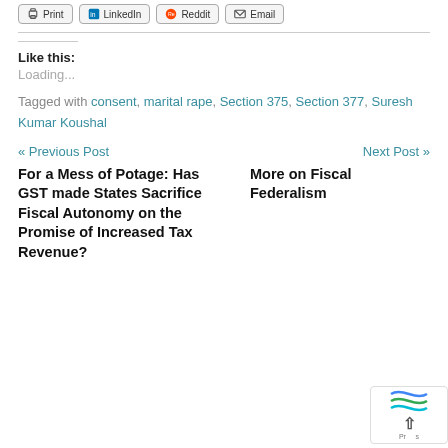Print | LinkedIn | Reddit | Email (toolbar buttons)
Like this:
Loading...
Tagged with consent, marital rape, Section 375, Section 377, Suresh Kumar Koushal
« Previous Post
Next Post »
For a Mess of Potage: Has GST made States Sacrifice Fiscal Autonomy on the Promise of Increased Tax Revenue?
More on Fiscal Federalism